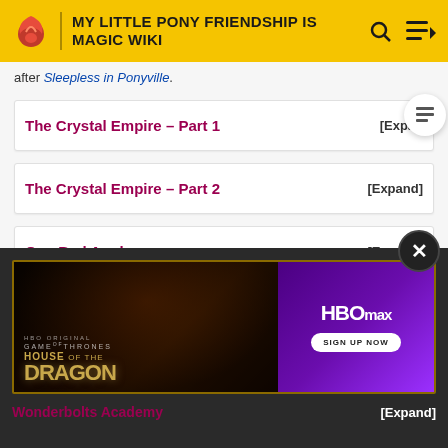MY LITTLE PONY FRIENDSHIP IS MAGIC WIKI
after Sleepless in Ponyville.
The Crystal Empire - Part 1 [Expand]
The Crystal Empire - Part 2 [Expand]
One Bad Apple [Expand]
Magic Duel [Expand]
[Figure (screenshot): HBO Max advertisement banner for House of the Dragon with Game of Thrones branding]
Wonderbolts Academy [Expand]